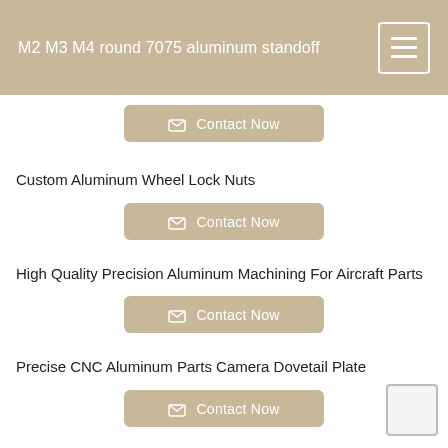M2 M3 M4 round 7075 aluminum standoff
Contact Now
Custom Aluminum Wheel Lock Nuts
Contact Now
High Quality Precision Aluminum Machining For Aircraft Parts
Contact Now
Precise CNC Aluminum Parts Camera Dovetail Plate
Contact Now
1000X2000X2.0mm 3K twill matte full carbon fiber sheet
Contact Now